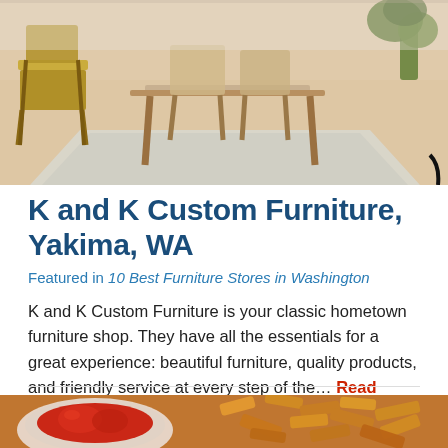[Figure (photo): Interior room with Scandinavian-style wooden chairs, a light wood dining table, light hardwood floors, and a grey area rug. Green plant visible in background right.]
K and K Custom Furniture, Yakima, WA
Featured in 10 Best Furniture Stores in Washington
K and K Custom Furniture is your classic hometown furniture shop. They have all the essentials for a great experience: beautiful furniture, quality products, and friendly service at every step of the… Read More
[Figure (photo): Close-up photo of a small white bowl filled with ketchup alongside crispy golden sweet potato fries on a surface.]